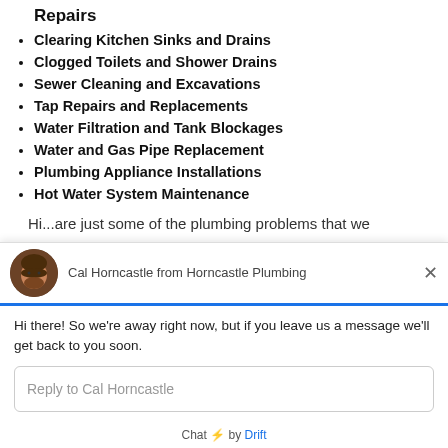Repairs
Clearing Kitchen Sinks and Drains
Clogged Toilets and Shower Drains
Sewer Cleaning and Excavations
Tap Repairs and Replacements
Water Filtration and Tank Blockages
Water and Gas Pipe Replacement
Plumbing Appliance Installations
Hot Water System Maintenance
Hi...are just some of the plumbing problems that we
[Figure (screenshot): Chat widget from Cal Horncastle of Horncastle Plumbing with message: Hi there! So we're away right now, but if you leave us a message we'll get back to you soon. Includes a reply input box and 'Chat by Drift' footer.]